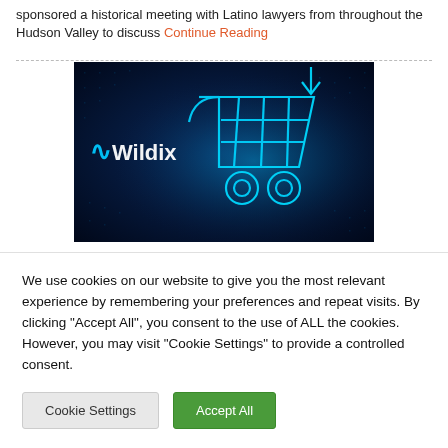sponsored a historical meeting with Latino lawyers from throughout the Hudson Valley to discuss Continue Reading
[Figure (photo): Dark blue digital background with a glowing cyan wireframe shopping cart and a download arrow icon. Wildix logo text on the left side.]
We use cookies on our website to give you the most relevant experience by remembering your preferences and repeat visits. By clicking "Accept All", you consent to the use of ALL the cookies. However, you may visit "Cookie Settings" to provide a controlled consent.